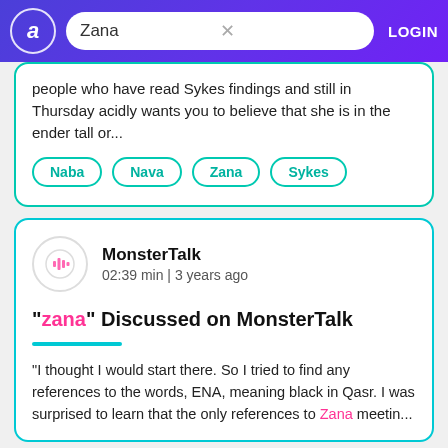Zana | LOGIN
people who have read Sykes findings and still in Thursday acidly wants you to believe that she is in the ender tall or...
Naba
Nava
Zana
Sykes
MonsterTalk
02:39 min | 3 years ago
"zana" Discussed on MonsterTalk
"I thought I would start there. So I tried to find any references to the words, ENA, meaning black in Qasr. I was surprised to learn that the only references to Zana meetin...